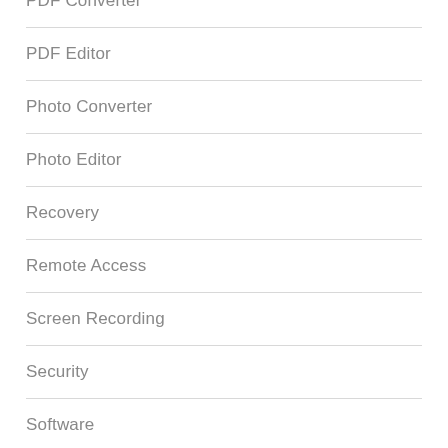PDF Converter
PDF Editor
Photo Converter
Photo Editor
Recovery
Remote Access
Screen Recording
Security
Software
Sound Booster
Sound Editor
System
SystemCare
Tool